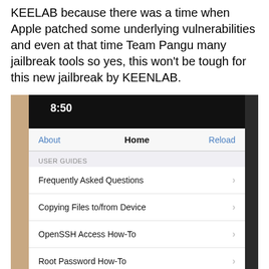KEELAB because there was a time when Apple patched some underlying vulnerabilities and even at that time Team Pangu many jailbreak tools so yes, this won't be tough for this new jailbreak by KEENLAB.
[Figure (photo): Photo of a hand holding an iPhone displaying a menu screen at 8:50, showing navigation with About, Home, Reload buttons, and a USER GUIDES section with menu items: Frequently Asked Questions, Copying Files to/from Device, OpenSSH Access How-To, Root Password How-To, Storage Information]